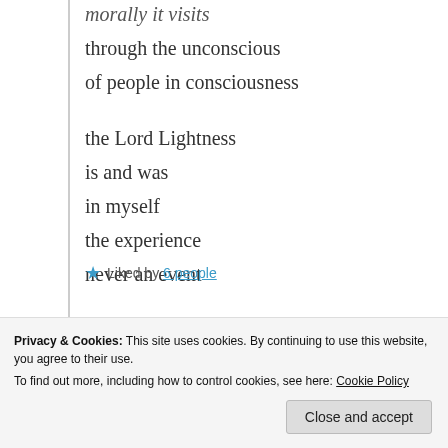morally it visits
through the unconscious
of people in consciousness

the Lord Lightness
is and was
in myself
the experience
never an event
Liked by 6 people
Log in to Reply
Privacy & Cookies: This site uses cookies. By continuing to use this website, you agree to their use.
To find out more, including how to control cookies, see here: Cookie Policy
Close and accept
5th Mar 2021 at 3:19 am